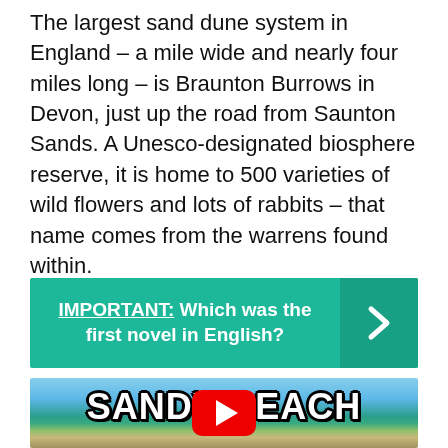The largest sand dune system in England – a mile wide and nearly four miles long – is Braunton Burrows in Devon, just up the road from Saunton Sands. A Unesco-designated biosphere reserve, it is home to 500 varieties of wild flowers and lots of rabbits – that name comes from the warrens found within.
IMPORTANT: Which was the first novel in English?
[Figure (screenshot): Video thumbnail with 'SANDY BEACH' title text in bold outlined letters, coastal beach scene with blue sky, sea, and green hills in background, red YouTube play button in center]